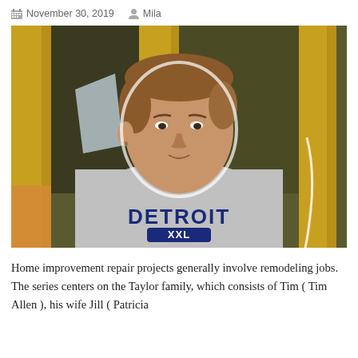November 30, 2019   Mila
[Figure (photo): A man wearing a gray Detroit XXL sweatshirt, photographed against a background with yellow and dark green tones. The man appears to be Tim Allen from the show Home Improvement.]
Home improvement repair projects generally involve remodeling jobs. The series centers on the Taylor family, which consists of Tim ( Tim Allen ), his wife Jill ( Patricia